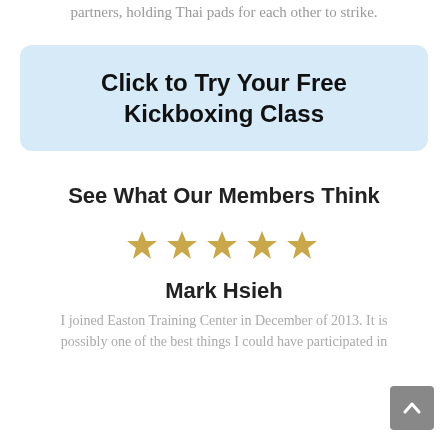partners, holding Thai pads for each other to strike.
Click to Try Your Free Kickboxing Class
See What Our Members Think
[Figure (other): Five gold star rating icons]
Mark Hsieh
I joined Easton Training Center in December of 2013. It is possibly one of the best things I could have participated in
[Figure (other): Scroll-to-top button with upward arrow]